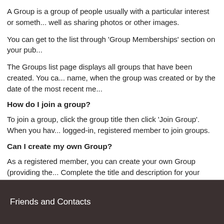A Group is a group of people usually with a particular interest or someth... well as sharing photos or other images.
You can get to the list through 'Group Memberships' section on your pub...
The Groups list page displays all groups that have been created. You ca... name, when the group was created or by the date of the most recent me...
How do I join a group?
To join a group, click the group title then click 'Join Group'. When you hav... logged-in, registered member to join groups.
Can I create my own Group?
As a registered member, you can create your own Group (providing the... Complete the title and description for your group then select the type. Th...
Public - open to everyone. There is no restriction on who can join or...
Invite Only - require an invitation to be sent to join them. Invitations... administrators. Invitations are sent by clicking 'Pending & Invited Me...
Moderated - open to everyone to join but messages need to be mo... and the site moderators and administrators
Friends and Contacts